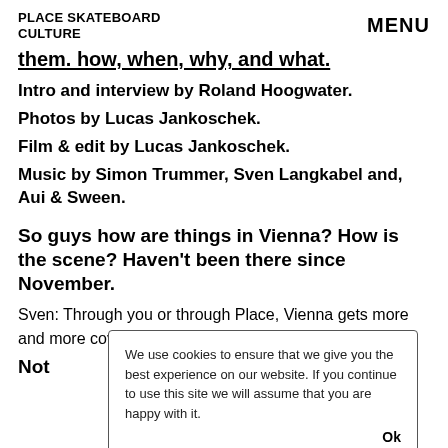PLACE SKATEBOARD CULTURE   MENU
them. how, when, why, and what.
Intro and interview by Roland Hoogwater.
Photos by Lucas Jankoschek.
Film & edit by Lucas Jankoschek.
Music by Simon Trummer, Sven Langkabel and, Aui & Sween.
So guys how are things in Vienna? How is the scene? Haven't been there since November.
Sven: Through you or through Place, Vienna gets more and more coverage. It's not only about Philipp Schu
Not
We use cookies to ensure that we give you the best experience on our website. If you continue to use this site we will assume that you are happy with it.  Ok